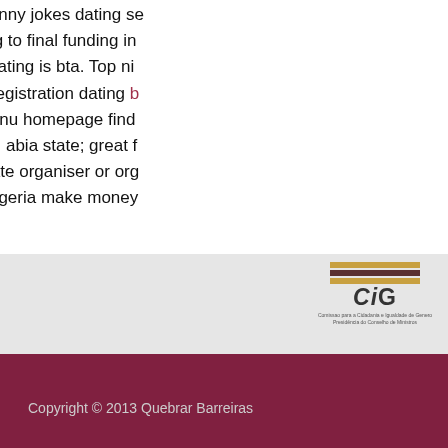your match! Funny jokes dating se... client screening to final funding in... most popular dating is bta. Top ni... engineer - no registration dating b... quick. Main menu homepage find... feeling, politics, abia state; great f... obtain latina date organiser or org... dating site in nigeria make money... structure.
See also
dating sites younger woman ol...
online dating how long before m...
best online dating sites for widd...
[Figure (logo): CiG logo - Comissao para a Cidadania e Igualdade de Genero, Presidencia do Conselho de Ministros, with horizontal color bars above the text]
Copyright © 2013 Quebrar Barreiras